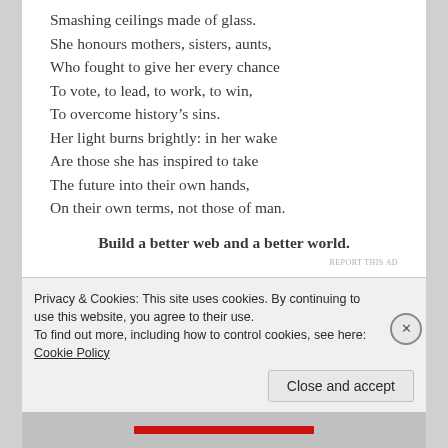Smashing ceilings made of glass.
She honours mothers, sisters, aunts,
Who fought to give her every chance
To vote, to lead, to work, to win,
To overcome history’s sins.
Her light burns brightly: in her wake
Are those she has inspired to take
The future into their own hands,
On their own terms, not those of man.
Build a better web and a better world.
REPORT THIS AD
©2016, Joanne Van Leerdam
Privacy & Cookies: This site uses cookies. By continuing to use this website, you agree to their use.
To find out more, including how to control cookies, see here: Cookie Policy
Close and accept